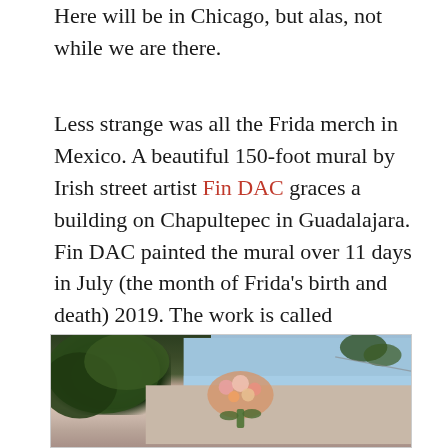Here will be in Chicago, but alas, not while we are there.
Less strange was all the Frida merch in Mexico. A beautiful 150-foot mural by Irish street artist Fin DAC graces a building on Chapultepec in Guadalajara. Fin DAC painted the mural over 11 days in July (the month of Frida's birth and death) 2019. The work is called “Madgalena,” after Frida’s full name: Magdalena Carmen Frida Kahlo y Calderón.
[Figure (photo): Partial view of a mural on a building wall showing colorful flowers/bouquet detail, with tree foliage in the upper left and blue sky visible on the right side.]